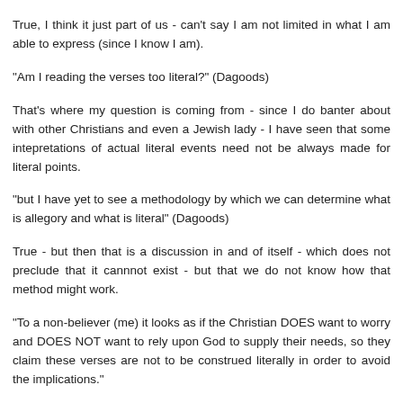True, I think it just part of us - can't say I am not limited in what I am able to express (since I know I am).
"Am I reading the verses too literal?" (Dagoods)
That's where my question is coming from - since I do banter about with other Christians and even a Jewish lady - I have seen that some intepretations of actual literal events need not be always made for literal points.
"but I have yet to see a methodology by which we can determine what is allegory and what is literal" (Dagoods)
True - but then that is a discussion in and of itself - which does not preclude that it cannnot exist - but that we do not know how that method might work.
"To a non-believer (me) it looks as if the Christian DOES want to worry and DOES NOT want to rely upon God to supply their needs, so they claim these verses are not to be construed literally in order to avoid the implications." (Dagoods)